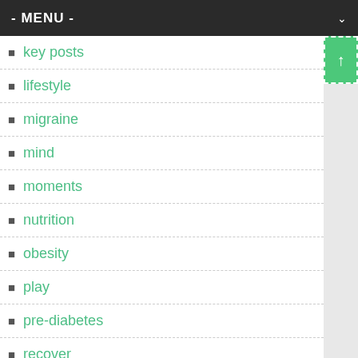- MENU -
key posts
lifestyle
migraine
mind
moments
nutrition
obesity
play
pre-diabetes
recover
shorts
sleep
steps